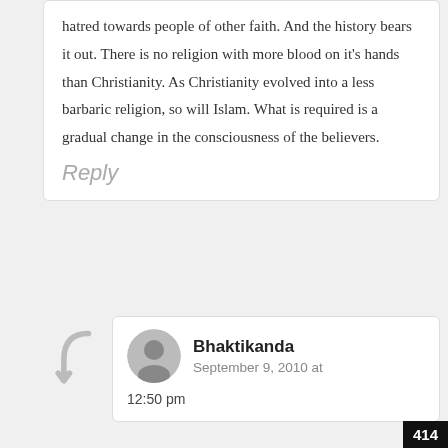hatred towards people of other faith. And the history bears it out. There is no religion with more blood on it's hands than Christianity. As Christianity evolved into a less barbaric religion, so will Islam. What is required is a gradual change in the consciousness of the believers.
Reply
Bhaktikanda
September 9, 2010 at
12:50 pm
414